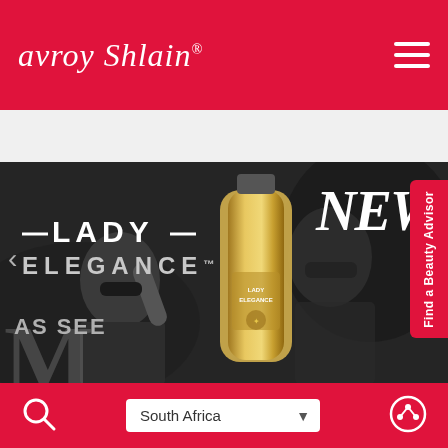Avroy Shlain
[Figure (screenshot): Mobile website screenshot of Avroy Shlain beauty brand homepage, showing Lady Elegance product advertisement with a woman wearing sunglasses and a gold perfume/lotion bottle, with text LADY ELEGANCE, NEW, and AS SEE(N) overlaid on a dark background]
Find a Beauty Advisor
South Africa